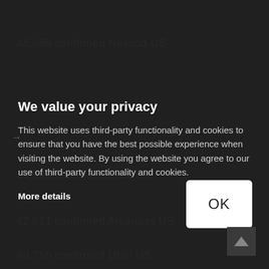48,088 confirmed Nevada US
We value your privacy
This website uses third-party functionality and cookies to ensure that you have the best possible experience when visiting the website. By using the website you agree to our use of third-party functionality and cookies.
44,936 confirmed Iowa US
More details
42,511 confirmed Arkansas US
OK
40,756 confirmed Utah US